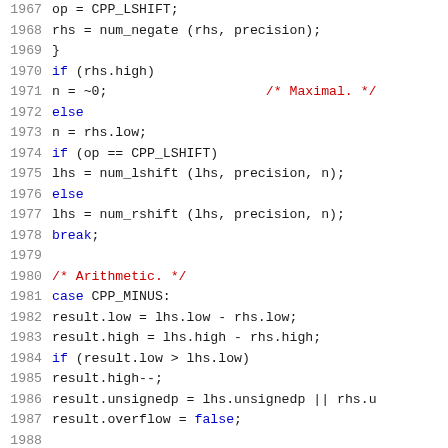Source code listing lines 1967-1988, C/C++ code with syntax highlighting showing bit shift and arithmetic operations